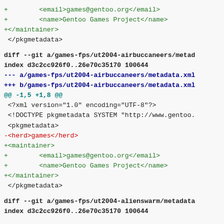+        <email>games@gentoo.org</email>
+        <name>Gentoo Games Project</name>
+</maintainer>
 </pkgmetadata>
diff --git a/games-fps/ut2004-airbuccaneers/metad
index d3c2cc926f0..26e70c35170 100644
--- a/games-fps/ut2004-airbuccaneers/metadata.xml
+++ b/games-fps/ut2004-airbuccaneers/metadata.xml
@@ -1,5 +1,8 @@
 <?xml version="1.0" encoding="UTF-8"?>
 <!DOCTYPE pkgmetadata SYSTEM "http://www.gentoo.
 <pkgmetadata>
-<herd>games</herd>
+<maintainer>
+        <email>games@gentoo.org</email>
+        <name>Gentoo Games Project</name>
+</maintainer>
 </pkgmetadata>
diff --git a/games-fps/ut2004-alienswarm/metadata
index d3c2cc926f0..26e70c35170 100644